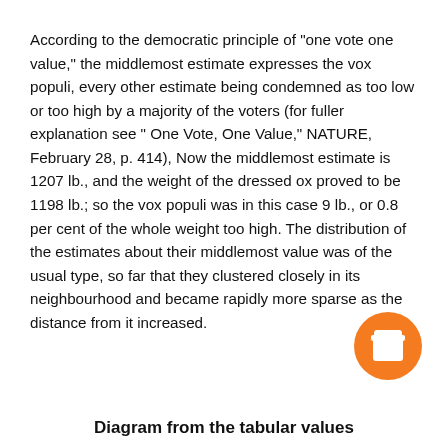According to the democratic principle of "one vote one value," the middlemost estimate expresses the vox populi, every other estimate being condemned as too low or too high by a majority of the voters (for fuller explanation see " One Vote, One Value," NATURE, February 28, p. 414), Now the middlemost estimate is 1207 lb., and the weight of the dressed ox proved to be 1198 lb.; so the vox populi was in this case 9 lb., or 0.8 per cent of the whole weight too high. The distribution of the estimates about their middlemost value was of the usual type, so far that they clustered closely in its neighbourhood and became rapidly more sparse as the distance from it increased.
[Figure (illustration): Orange circular coffee cup icon (Buy Me a Coffee button)]
Diagram from the tabular values